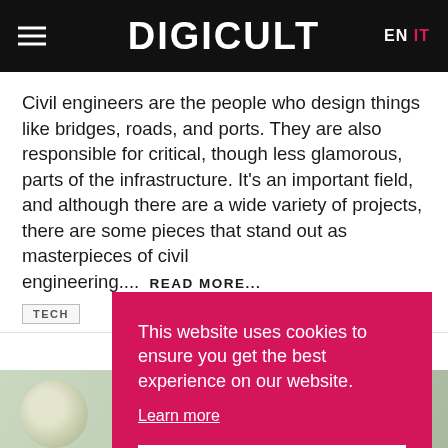DIGICULT  EN IT
Civil engineers are the people who design things like bridges, roads, and ports. They are also responsible for critical, though less glamorous, parts of the infrastructure. It's an important field, and although there are a wide variety of projects, there are some pieces that stand out as masterpieces of civil engineering....  READ MORE...
TECH
This website uses cookies to ensure you get the best experience on our website. Learn more  Got it